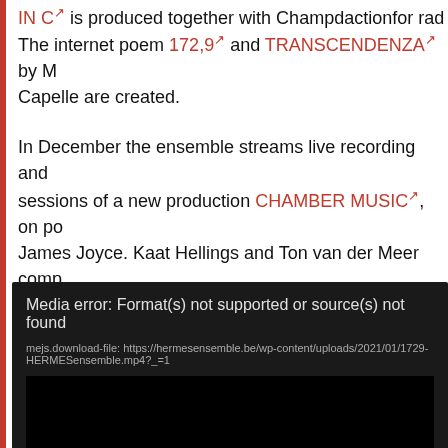IN C↗ is produced together with Champdactionfor rad... The internet poem 172,9↗ and TRANSCENDENZA↗ by M... Capelle are created.
In December the ensemble streams live recording and sessions of a new production CHAMBER MUSIC↗, on po... James Joyce. Kaat Hellings and Ton van der Meer comp... original material, which was orchestrated for HERMESe... by Stijn Saveniers.
[Figure (screenshot): Media error box with dark background showing 'Media error: Format(s) not supported or source(s) not found' and a URL: mejs.download-file: https://hermesensemble.be/wp-content/uploads/2021/01/1729-HERMESensemble.mp4?_=1]